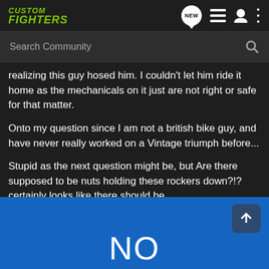CUSTOM FIGHTERS
realizing this guy hosed him. I couldn't let him ride it home as the mechanicals on it just are not right or safe for that matter.
Onto my question since I am not a british bike guy, and have never really worked on a Vintage triumph before...
Stupid as the next question might be, but Are there supposed to be nuts holding these rockers down?!? certainly looks like there should be.
[Figure (screenshot): Blue background image with large white text 'NO' at the bottom, with a scroll-to-top button overlay]